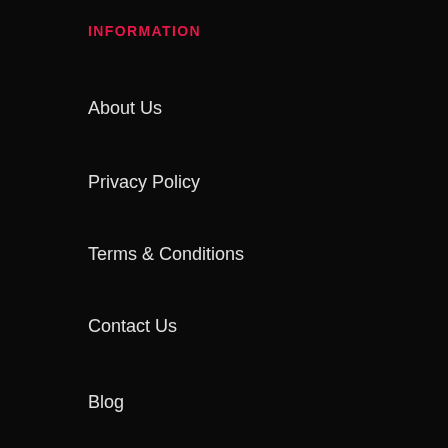INFORMATION
About Us
Privacy Policy
Terms & Conditions
Contact Us
Blog
CUSTOMER SERVICE
Shipping
Return Policy